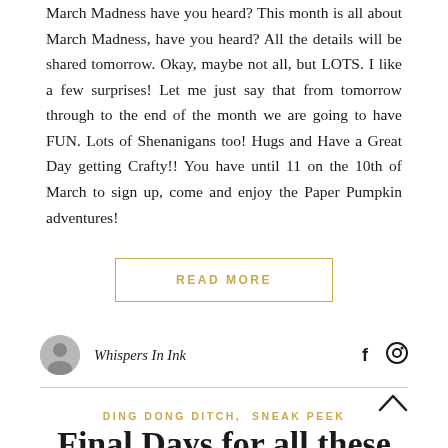March Madness have you heard? This month is all about March Madness, have you heard? All the details will be shared tomorrow. Okay, maybe not all, but LOTS. I like a few surprises! Let me just say that from tomorrow through to the end of the month we are going to have FUN. Lots of Shenanigans too! Hugs and Have a Great Day getting Crafty!! You have until 11 on the 10th of March to sign up, come and enjoy the Paper Pumpkin adventures!
READ MORE
Whispers In Ink
DING DONG DITCH, SNEAK PEEK
Final Days for all these